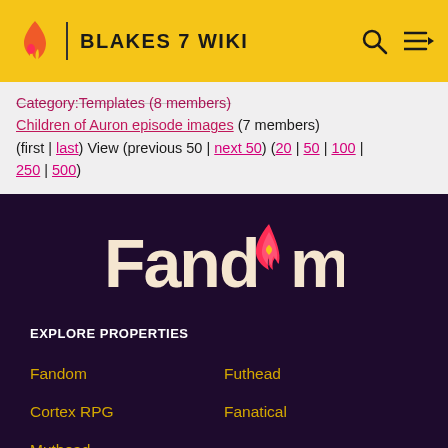BLAKES 7 WIKI
Category:Templates (8 members)
Children of Auron episode images (7 members)
(first | last) View (previous 50 | next 50) (20 | 50 | 100 | 250 | 500)
[Figure (logo): Fandom logo with flame and heart icon]
EXPLORE PROPERTIES
Fandom
Futhead
Cortex RPG
Fanatical
Muthead